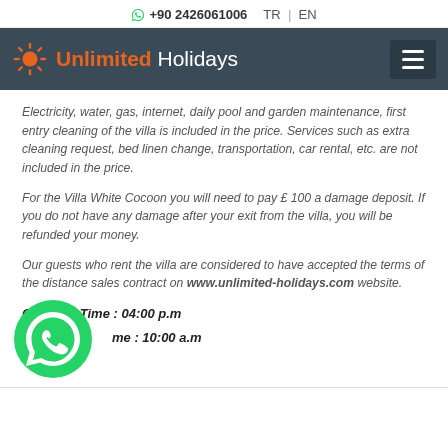+90 2426061006   TR | EN
[Figure (logo): Unlimited Holidays logo with sun icon on dark navy navigation bar with hamburger menu]
Electricity, water, gas, internet, daily pool and garden maintenance, first entry cleaning of the villa is included in the price. Services such as extra cleaning request, bed linen change, transportation, car rental, etc. are not included in the price.
For the Villa White Cocoon you will need to pay £ 100 a damage deposit. If you do not have any damage after your exit from the villa, you will be refunded your money.
Our guests who rent the villa are considered to have accepted the terms of the distance sales contract on www.unlimited-holidays.com website.
Check in Time : 04:00 p.m
Check out Time : 10:00 a.m
[Figure (illustration): Green WhatsApp floating button icon]